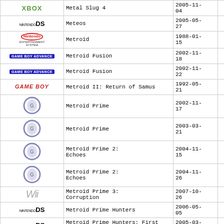| Platform | Title | Date | Region |
| --- | --- | --- | --- |
| Xbox | Metal Slug 4 | 2005-11-04 | EU |
| Nintendo DS | Meteos | 2005-05-27 | US |
| NES | Metroid | 1988-01-15 | EU |
| Game Boy Advance | Metroid Fusion | 2002-11-18 | US |
| Game Boy Advance | Metroid Fusion | 2002-11-22 | EU |
| Game Boy | Metroid II: Return of Samus | 1992-05-21 | EU |
| GameCube | Metroid Prime | 2002-11-17 | US |
| GameCube | Metroid Prime | 2003-03-21 | EU |
| GameCube | Metroid Prime 2: Echoes | 2004-11-15 | US |
| GameCube | Metroid Prime 2: Echoes | 2004-11-26 | EU |
| Wii | Metroid Prime 3: Corruption | 2007-10-26 | EU |
| Nintendo DS | Metroid Prime Hunters | 2006-05-05 | EU |
| Nintendo DS | Metroid Prime Hunters: First Hunt | 2005-03-11 | EU |
| Nintendo DS | Metroid Prime Hunters: First Hunt | 2005-03-11 | EU |
| Nintendo DS | Metroid Prime Pinball [+ Rumble Pak] | 2007-06-22 | EU |